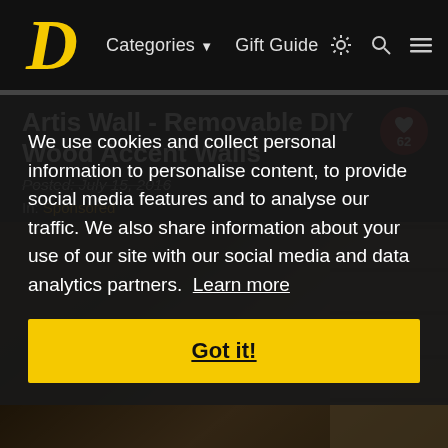Categories ▼  Gift Guide
Artis Wall - Removable DIY Wood Accent Walls
Posted: July 15, 2016
In: Sponsored
We use cookies and collect personal information to personalise content, to provide social media features and to analyse our traffic. We also share information about your use of our site with our social media and data analytics partners. Learn more
Got it!
[Figure (photo): Background photo of a wood accent wall installation in a living room with dark wood panels]